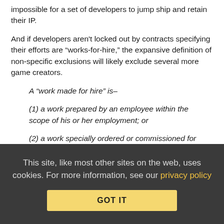impossible for a set of developers to jump ship and retain their IP.
And if developers aren't locked out by contracts specifying their efforts are “works-for-hire,” the expansive definition of non-specific exclusions will likely exclude several more game creators.
A “work made for hire” is–
(1) a work prepared by an employee within the scope of his or her employment; or
(2) a work specially ordered or commissioned for use as a contribution to a collective work, as a part of a motion picture or other audiovisual work, as a translation, as a supplementary work, as a compilation, as an instructional text, as a test, as answer material for a test, or as an atlas, if the parties expressly agree in a written instrument signed by them that the work
This site, like most other sites on the web, uses cookies. For more information, see our privacy policy
GOT IT